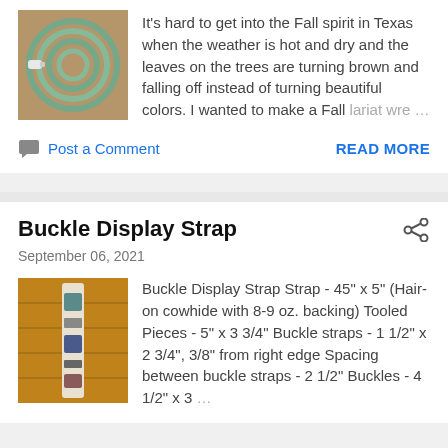[Figure (photo): Coiled garden hose on a wooden surface, green and white colored hose]
It's hard to get into the Fall spirit in Texas when the weather is hot and dry and the leaves on the trees are turning brown and falling off instead of turning beautiful colors. I wanted to make a Fall lariat wre …
Post a Comment
READ MORE
Buckle Display Strap
September 06, 2021
[Figure (photo): Buckle display strap hanging on a wooden wall, showing leather strap with buckles and tooled pieces]
Buckle Display Strap Strap - 45" x 5" (Hair-on cowhide with 8-9 oz. backing) Tooled Pieces - 5" x 3 3/4" Buckle straps - 1 1/2" x 2 3/4", 3/8" from right edge Spacing between buckle straps - 2 1/2" Buckles - 4 1/2" x 3 …